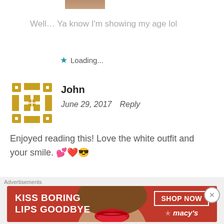[Figure (photo): Partially visible profile photo at top, cropped]
Well… Ya know I'm showing my age lol
★ Loading...
[Figure (illustration): Gold pixel/space-invader style avatar icon for user John]
John
June 29, 2017   Reply
Enjoyed reading this! Love the white outfit and your smile. 💕❤️😎
★ Loading...
[Figure (photo): Partially visible avatar at bottom]
Advertisements
[Figure (photo): Macy's ad banner: KISS BORING LIPS GOODBYE with woman's face and red lips, SHOP NOW button and Macy's star logo]